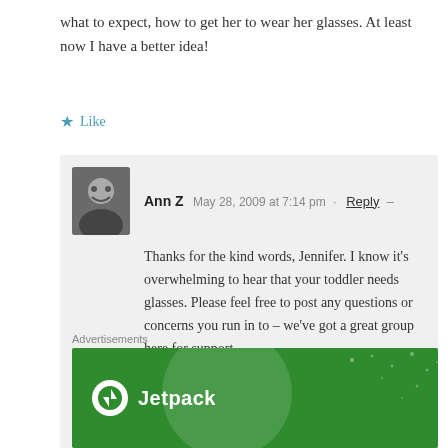what to expect, how to get her to wear her glasses. At least now I have a better idea!
★ Like
Ann Z   May 28, 2009 at 7:14 pm  · Reply –
Thanks for the kind words, Jennifer. I know it's overwhelming to hear that your toddler needs glasses. Please feel free to post any questions or concerns you run in to – we've got a great group here for support.

We'd love to see a picture of your daughter in her new glasses, too!
★ Like
Advertisements
[Figure (logo): Jetpack advertisement banner with green background and Jetpack logo]